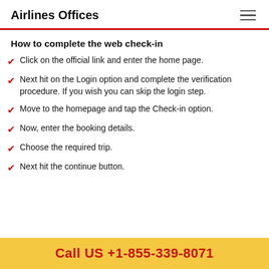Airlines Offices
How to complete the web check-in
Click on the official link and enter the home page.
Next hit on the Login option and complete the verification procedure. If you wish you can skip the login step.
Move to the homepage and tap the Check-in option.
Now, enter the booking details.
Choose the required trip.
Next hit the continue button.
Call US +1-855-339-8071